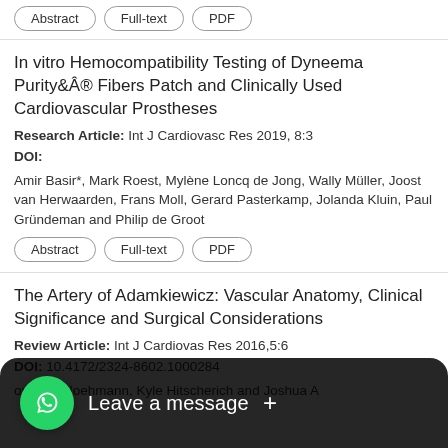Abstract | Full-text | PDF
In vitro Hemocompatibility Testing of Dyneema Purity® Fibers Patch and Clinically Used Cardiovascular Prostheses
Research Article: Int J Cardiovasc Res 2019, 8:3
DOI:
Amir Basir*, Mark Roest, Mylène Loncq de Jong, Wally Müller, Joost van Herwaarden, Frans Moll, Gerard Pasterkamp, Jolanda Kluin, Paul Gründeman and Philip de Groot
Abstract | Full-text | PDF
The Artery of Adamkiewicz: Vascular Anatomy, Clinical Significance and Surgical Considerations
Review Article: Int J Cardiovas Res 2016,5:6
DOI: 10.4172/2324-8602.1000284
opher L Hoehmann, Kyle Hitscherich and Joshua A
Leave a message +